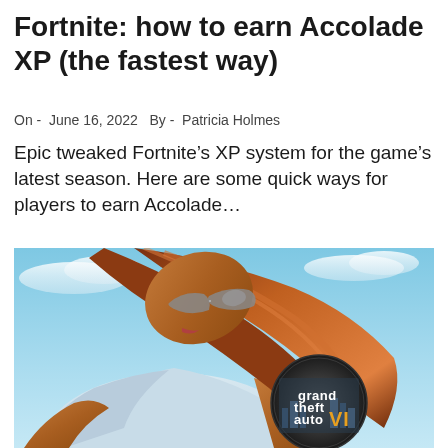Fortnite: how to earn Accolade XP (the fastest way)
On -  June 16, 2022   By -  Patricia Holmes
Epic tweaked Fortnite’s XP system for the game’s latest season. Here are some quick ways for players to earn Accolade…
[Figure (illustration): GTA VI promotional artwork showing an animated woman with sunglasses and long auburn hair bending forward, with a circular GTA VI logo badge overlaid in the lower right corner. Sky blue background.]